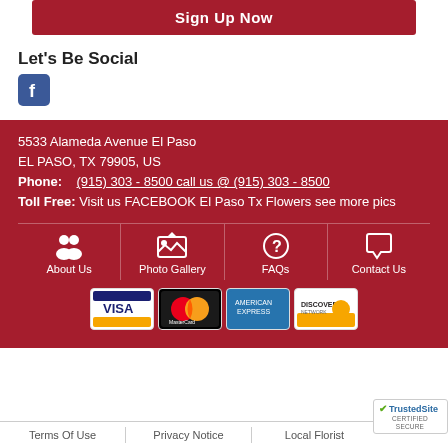Sign Up Now
Let's Be Social
[Figure (logo): Facebook icon (blue square with white f)]
5533 Alameda Avenue El Paso
EL PASO, TX 79905, US
Phone: (915) 303 - 8500 call us @ (915) 303 - 8500
Toll Free: Visit us FACEBOOK El Paso Tx Flowers see more pics
[Figure (infographic): Navigation icons row: About Us (people icon), Photo Gallery (image icon), FAQs (question mark icon), Contact Us (speech bubble icon)]
[Figure (logo): Payment method logos: Visa, MasterCard, American Express, Discover]
Terms Of Use | Privacy Notice | Local Florist
[Figure (logo): TrustedSite CERTIFIED SECURE badge]